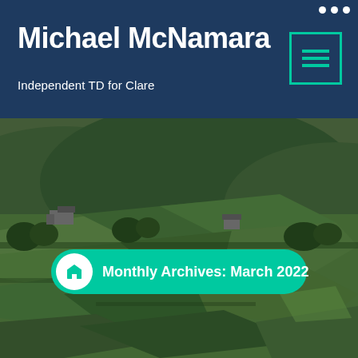Michael McNamara
Independent TD for Clare
[Figure (photo): Aerial photograph of lush green Irish countryside with rolling hills, hedgerows, trees and farm buildings]
Monthly Archives: March 2022